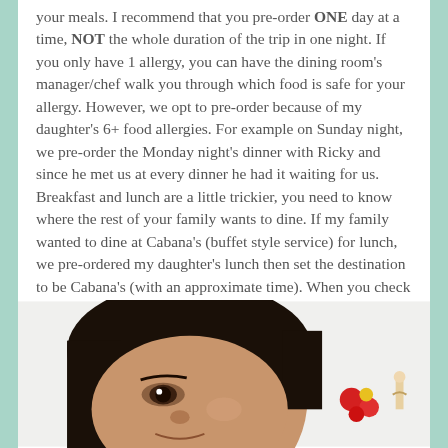your meals. I recommend that you pre-order ONE day at a time, NOT the whole duration of the trip in one night. If you only have 1 allergy, you can have the dining room's manager/chef walk you through which food is safe for your allergy. However, we opt to pre-order because of my daughter's 6+ food allergies. For example on Sunday night, we pre-order the Monday night's dinner with Ricky and since he met us at every dinner he had it waiting for us. Breakfast and lunch are a little trickier, you need to know where the rest of your family wants to dine. If my family wanted to dine at Cabana's (buffet style service) for lunch, we pre-ordered my daughter's lunch then set the destination to be Cabana's (with an approximate time). When you check in at the location you are dining at, find a cast member who will track down your order for you.
[Figure (photo): A young girl's face close up, with dark hair, looking slightly upward. In the background to the right are small red and yellow objects that appear to be food items or toys, and a small figurine.]